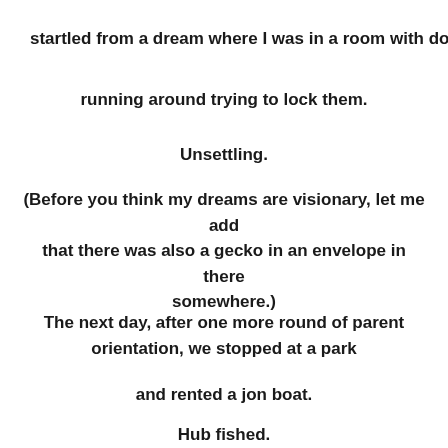startled from a dream where I was in a room with doors
running around trying to lock them.
Unsettling.
(Before you think my dreams are visionary, let me add that there was also a gecko in an envelope in there somewhere.)
The next day, after one more round of parent orientation, we stopped at a park
and rented a jon boat.
Hub fished.